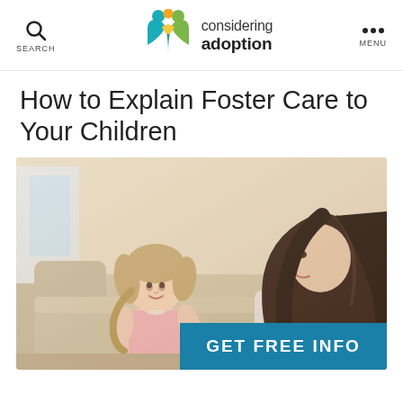SEARCH | considering adoption | MENU
How to Explain Foster Care to Your Children
[Figure (photo): A young girl in a pink shirt sitting on a couch, looking up and smiling at a woman with dark hair who is leaning toward her, in a warm indoor setting]
GET FREE INFO